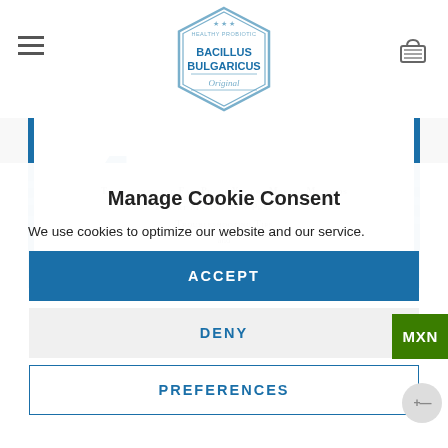Bacillus Bulgaricus - Original (logo header with hamburger menu and cart)
[Figure (screenshot): Book cover image showing text lines: 'Traditional and Fail Proof Yogurt Making Methods', 'Yogurt Making Best Practices', 'Troubleshooting Tips', 'and', 'Recipes for Dairy and Vegan Yogurts', with 'BULGARICUS' watermark text and blue side borders]
Manage Cookie Consent
We use cookies to optimize our website and our service.
ACCEPT
DENY
PREFERENCES